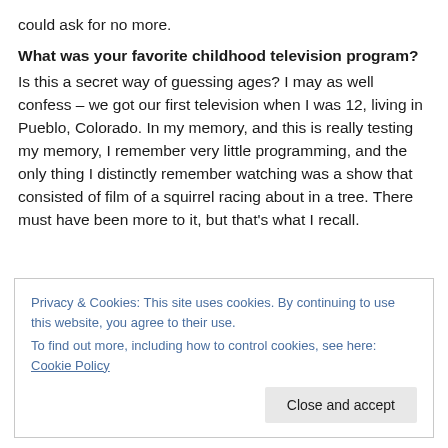could ask for no more.
What was your favorite childhood television program?
Is this a secret way of guessing ages? I may as well confess – we got our first television when I was 12, living in Pueblo, Colorado. In my memory, and this is really testing my memory, I remember very little programming, and the only thing I distinctly remember watching was a show that consisted of film of a squirrel racing about in a tree. There must have been more to it, but that's what I recall.
Privacy & Cookies: This site uses cookies. By continuing to use this website, you agree to their use.
To find out more, including how to control cookies, see here: Cookie Policy